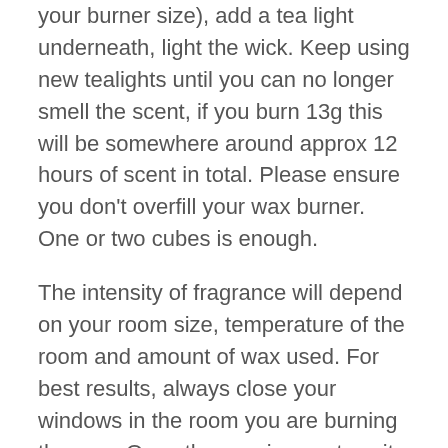your burner size), add a tea light underneath, light the wick. Keep using new tealights until you can no longer smell the scent, if you burn 13g this will be somewhere around approx 12 hours of scent in total. Please ensure you don't overfill your wax burner. One or two cubes is enough.
The intensity of fragrance will depend on your room size, temperature of the room and amount of wax used. For best results, always close your windows in the room you are burning the wax. Once the wax is spent, wait until the wax cools and then gently place pressure on one end of the wax until it pops out. You could also use cotton balls/pads to soak up melted/molten wax and then dispose accordingly. Do not use wipes and/or cleaning chemicals/products to clean the burner. Do not use metal or sharp objects to clean out wax as this may crack or damage the burner or cause injury.
Please check packaging for allergen advise. Keep away